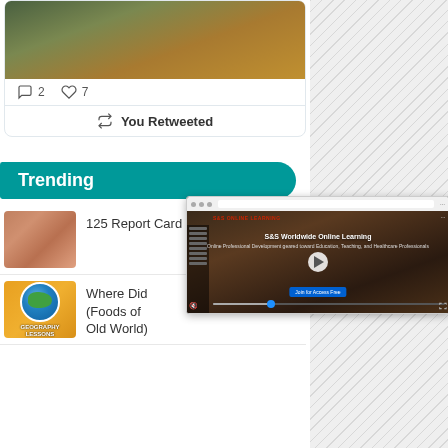[Figure (photo): Person meditating by water, cropped at top of card]
2  7
You Retweeted
Trending
[Figure (photo): Hands typing on laptop keyboard, thumbnail for '125 Report Card Comments']
125 Report Card Comments
[Figure (photo): Geography Lessons thumbnail with globe on yellow background]
Where Did (Foods of Old World)
[Figure (screenshot): S&S Worldwide Online Learning video screenshot with play button]